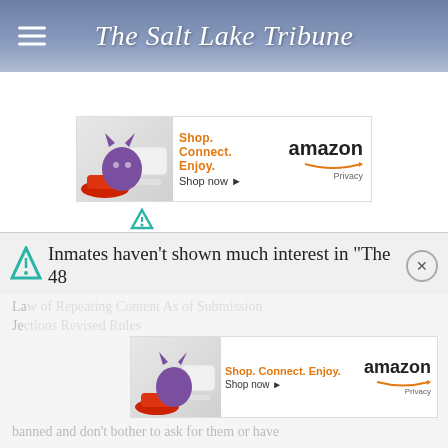The Salt Lake Tribune
[Figure (screenshot): Amazon advertisement banner with purple cat and Xbox console image, tagline 'Shop. Connect. Enjoy.' with 'Shop now' link and Amazon logo with Privacy link]
[Figure (logo): Ad tracking icon (teal triangle/funnel symbol)]
Inmates haven't shown much interest in "The 48
[Figure (screenshot): Second Amazon advertisement banner with purple cat and Xbox console image, tagline 'Shop. Connect. Enjoy.' with 'Shop now' link and Amazon logo with Privacy link]
banned and don't bother to ask for them or have